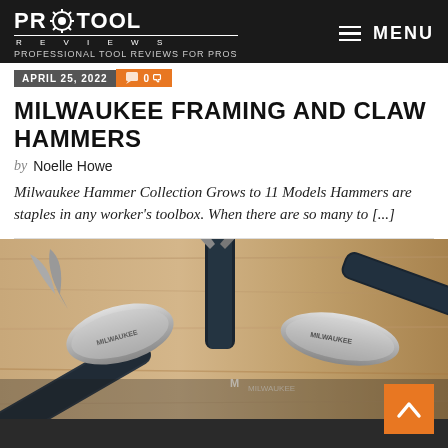PRO TOOL REVIEWS — PROFESSIONAL TOOL REVIEWS FOR PROS | MENU
APRIL 25, 2022 | 0 comments
MILWAUKEE FRAMING AND CLAW HAMMERS
by Noelle Howe
Milwaukee Hammer Collection Grows to 11 Models Hammers are staples in any worker's toolbox. When there are so many to [...]
[Figure (photo): Close-up photo of multiple Milwaukee framing and claw hammers arranged together, showing the hammer heads and handles with branding visible on a wooden surface background.]